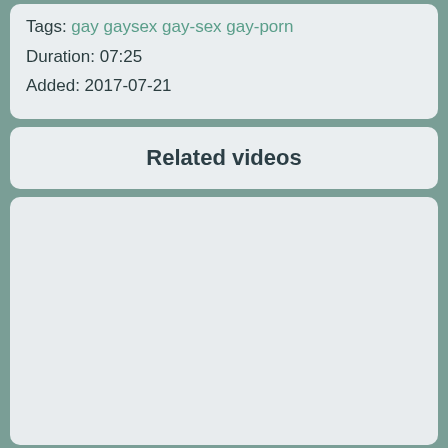Tags: gay gaysex gay-sex gay-porn
Duration: 07:25
Added: 2017-07-21
Related videos
[Figure (other): Empty light gray content area placeholder for related videos]